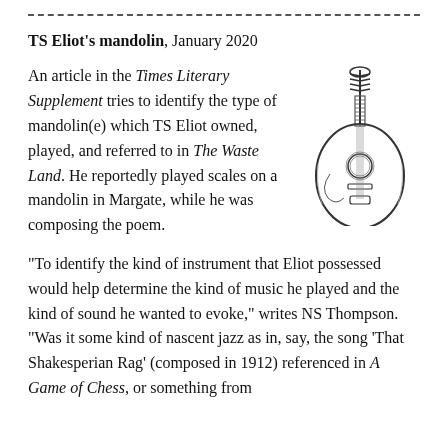TS Eliot's mandolin, January 2020
An article in the Times Literary Supplement tries to identify the type of mandolin(e) which TS Eliot owned, played, and referred to in The Waste Land. He reportedly played scales on a mandolin in Margate, while he was composing the poem.
[Figure (illustration): Line drawing of a bowl-back mandolin instrument]
“To identify the kind of instrument that Eliot possessed would help determine the kind of music he played and the kind of sound he wanted to evoke,” writes NS Thompson. “Was it some kind of nascent jazz as in, say, the song ‘That Shakesperian Rag’ (composed in 1912) referenced in A Game of Chess, or something from